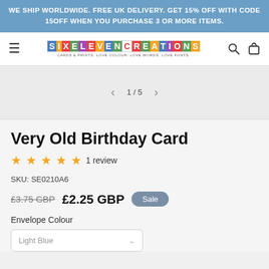WE SHIP WORLDWIDE. FREE UK DELIVERY. GET 15% OFF WITH CODE 15OFF WHEN YOU PURCHASE 3 OR MORE ITEMS.
[Figure (logo): SixEleven Creations logo with colourful tiled letters and tagline: CARDS & PRINTS. LOVE COLOUR. LOVE WORDS. LOVE FONTS.]
1 / 5
Very Old Birthday Card
★★★★★ 1 review
SKU: SE0210A6
£3.75 GBP £2.25 GBP Sale
Envelope Colour
Light Blue